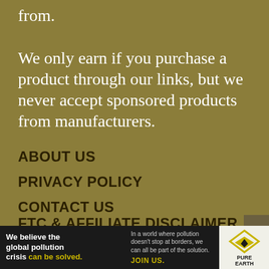from.
We only earn if you purchase a product through our links, but we never accept sponsored products from manufacturers.
ABOUT US
PRIVACY POLICY
CONTACT US
FTC & AFFILIATE DISCLAIMER
[Figure (infographic): Pure Earth advertisement banner: 'We believe the global pollution crisis can be solved.' with Pure Earth logo on right]